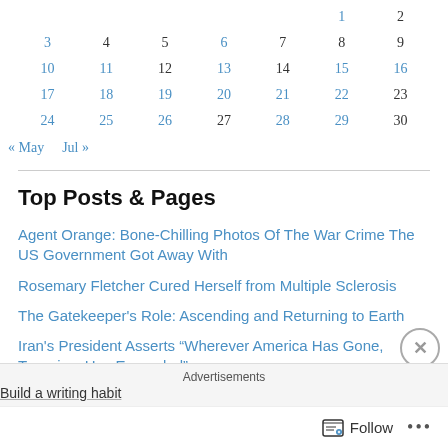|  |  |  |  |  |  |  |
| --- | --- | --- | --- | --- | --- | --- |
|  |  |  |  |  | 1 | 2 |
| 3 | 4 | 5 | 6 | 7 | 8 | 9 |
| 10 | 11 | 12 | 13 | 14 | 15 | 16 |
| 17 | 18 | 19 | 20 | 21 | 22 | 23 |
| 24 | 25 | 26 | 27 | 28 | 29 | 30 |
« May   Jul »
Top Posts & Pages
Agent Orange: Bone-Chilling Photos Of The War Crime The US Government Got Away With
Rosemary Fletcher Cured Herself from Multiple Sclerosis
The Gatekeeper's Role: Ascending and Returning to Earth
Iran's President Asserts “Wherever America Has Gone, Terrorism Has Expanded”
Advertisements
Build a writing habit
Follow